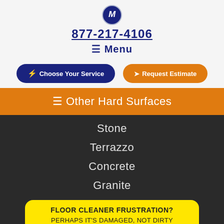[Figure (logo): Letter M logo in dark blue circle]
877-217-4106
≡ Menu
⚡ Choose Your Service
➤ Request Estimate
≡ Other Hard Surfaces
Stone
Terrazzo
Concrete
Granite
FLOOR CLEANER FRUSTRATION? PERHAPS IT'S DAMAGED, NOT DIRTY SEE IMAGES HERE